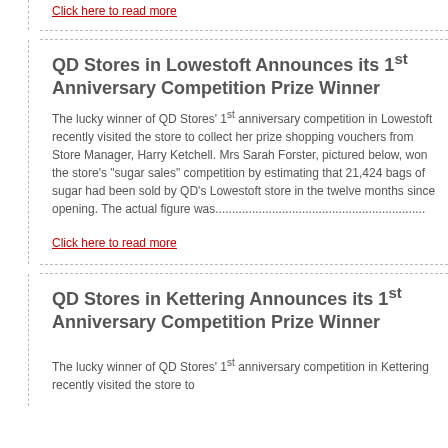Click here to read more
QD Stores in Lowestoft Announces its 1st Anniversary Competition Prize Winner
The lucky winner of QD Stores' 1st anniversary competition in Lowestoft recently visited the store to collect her prize shopping vouchers from Store Manager, Harry Ketchell. Mrs Sarah Forster, pictured below, won the store's "sugar sales" competition by estimating that 21,424 bags of sugar had been sold by QD's Lowestoft store in the twelve months since opening. The actual figure was...
Click here to read more
QD Stores in Kettering Announces its 1st Anniversary Competition Prize Winner
The lucky winner of QD Stores' 1st anniversary competition in Kettering recently visited the store to